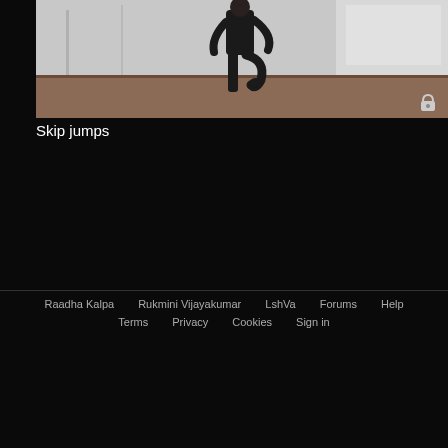[Figure (photo): Video thumbnail showing a person in a yoga/exercise pose (standing balance) in a bright white room with wooden floor. A lock icon appears in the bottom-right of the thumbnail.]
Skip jumps
Raadha Kalpa   Rukmini Vijayakumar   LshVa   Forums   Help   Terms   Privacy   Cookies   Sign in